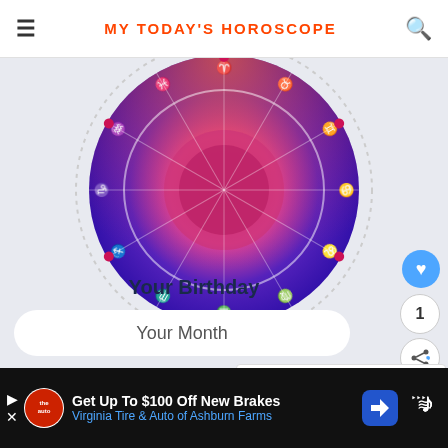MY TODAY'S HOROSCOPE
[Figure (illustration): Circular zodiac wheel with colorful gradient background showing all 12 zodiac signs with symbols arranged in a ring pattern, fading from red/orange at top to purple/blue at bottom]
Your Birthday
Your Month
Your Day
WHAT'S NEXT → 733 Angel Number Twi...
Get Up To $100 Off New Brakes Virginia Tire & Auto of Ashburn Farms